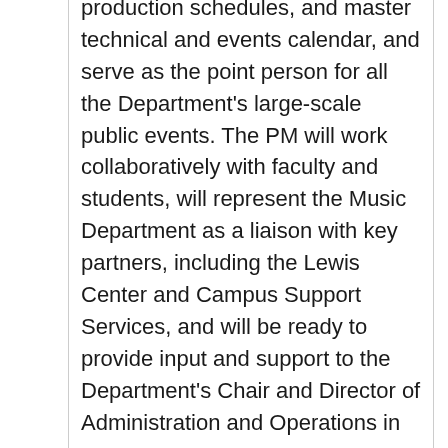production schedules, and master technical and events calendar, and serve as the point person for all the Department's large-scale public events. The PM will work collaboratively with faculty and students, will represent the Music Department as a liaison with key partners, including the Lewis Center and Campus Support Services, and will be ready to provide input and support to the Department's Chair and Director of Administration and Operations in...